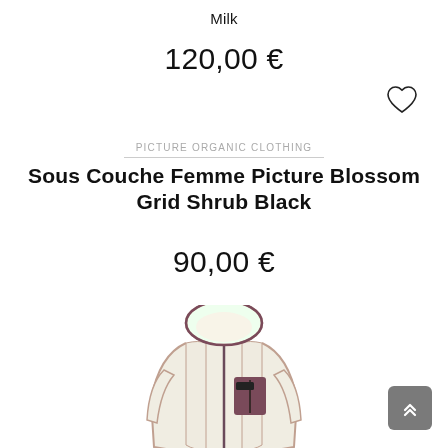Milk
120,00 €
PICTURE ORGANIC CLOTHING
Sous Couche Femme Picture Blossom Grid Shrub Black
90,00 €
[Figure (photo): White/cream hooded zip-up fleece jacket with dark mauve/burgundy trim and chest pocket with brand logo patch]